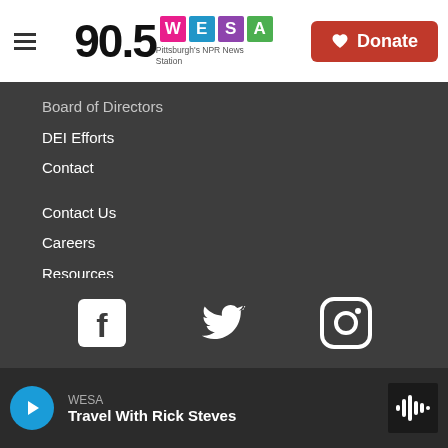[Figure (logo): 90.5 WESA Pittsburgh's NPR News Station logo with colorful letter blocks and Donate button]
Board of Directors
DEI Efforts
Contact
Contact Us
Careers
Resources
Reports & Resources
Public Files
Privacy & Terms of Use
COVID-19
FCC Applications
[Figure (illustration): Social media icons: Facebook, Twitter, Instagram]
WESA
Travel With Rick Steves